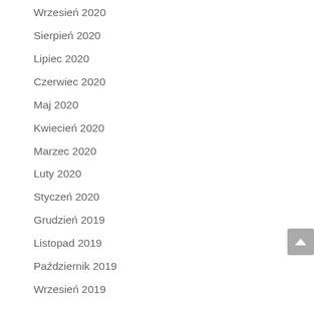Wrzesień 2020
Sierpień 2020
Lipiec 2020
Czerwiec 2020
Maj 2020
Kwiecień 2020
Marzec 2020
Luty 2020
Styczeń 2020
Grudzień 2019
Listopad 2019
Październik 2019
Wrzesień 2019